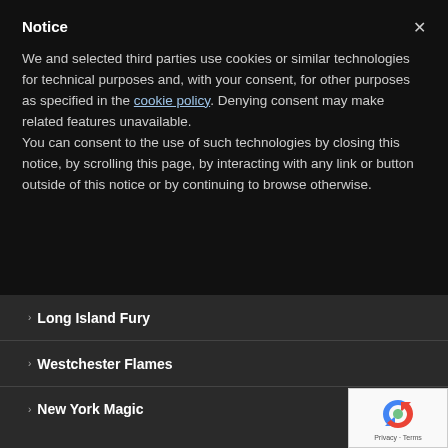Notice
We and selected third parties use cookies or similar technologies for technical purposes and, with your consent, for other purposes as specified in the cookie policy. Denying consent may make related features unavailable.
You can consent to the use of such technologies by closing this notice, by scrolling this page, by interacting with any link or button outside of this notice or by continuing to browse otherwise.
Long Island Fury
Westchester Flames
New York Magic
Rochester Lancers
Rochester Rhinos
[Figure (logo): reCAPTCHA badge with blue circular logo and Privacy · Terms text]